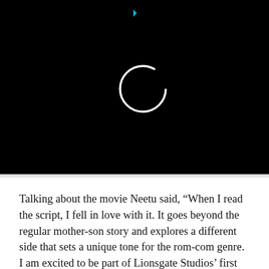[Figure (screenshot): Black video player area with a white circle (loading/play spinner) icon and a small cyan/teal play arrow indicator at the top center]
Talking about the movie Neetu said, “When I read the script, I fell in love with it. It goes beyond the regular mother-son story and explores a different side that sets a unique tone for the rom-com genre. I am excited to be part of Lionsgate Studios’ first production, in a movie, I believe will touch hearts and remain close to my heart.”
Moreover, Director Dhaimade also expressed his